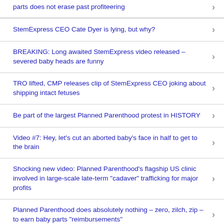parts does not erase past profiteering
StemExpress CEO Cate Dyer is lying, but why?
BREAKING: Long awaited StemExpress video released – severed baby heads are funny
TRO lifted, CMP releases clip of StemExpress CEO joking about shipping intact fetuses
Be part of the largest Planned Parenthood protest in HISTORY
Video #7: Hey, let’s cut an aborted baby’s face in half to get to the brain
Shocking new video: Planned Parenthood’s flagship US clinic involved in large-scale late-term “cadaver” trafficking for major profits
Planned Parenthood does absolutely nothing – zero, zilch, zip – to earn baby parts “reimbursements”